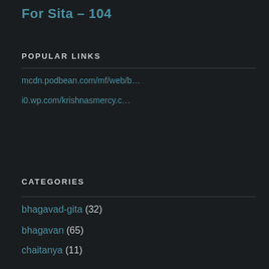For Sita – 104
POPULAR LINKS
mcdn.podbean.com/mf/web/b…
i0.wp.com/krishnasmercy.c…
CATEGORIES
bhagavad-gita (32)
bhagavan (65)
chaitanya (11)
chanting (41)
charity (11)